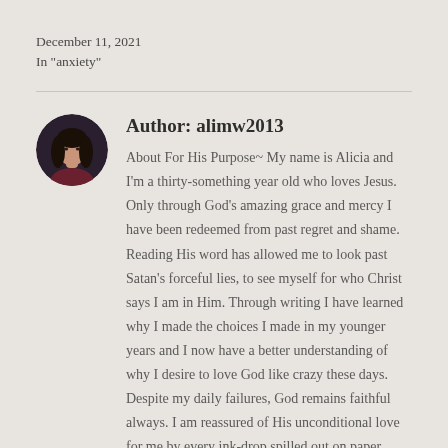December 11, 2021
In "anxiety"
[Figure (photo): Circular avatar photo of a woman with long dark hair wearing a dark red top, against a dark background.]
Author: alimw2013
About For His Purpose~ My name is Alicia and I'm a thirty-something year old who loves Jesus. Only through God's amazing grace and mercy I have been redeemed from past regret and shame. Reading His word has allowed me to look past Satan's forceful lies, to see myself for who Christ says I am in Him. Through writing I have learned why I made the choices I made in my younger years and I now have a better understanding of why I desire to love God like crazy these days. Despite my daily failures, God remains faithful always. I am reassured of His unconditional love for me by every ink-drop spilled out on paper, each committed prayer as I cry out to Him, and deep understanding reflected through reading His word as truth. Yes keeping a blog will make me vulnerable to others' opinions- there will